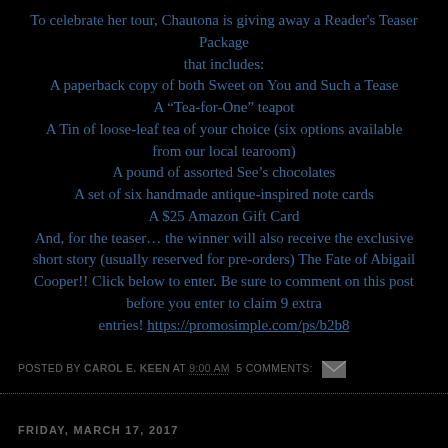To celebrate her tour, Chautona is giving away a Reader's Teaser Package that includes:
A paperback copy of both Sweet on You and Such a Tease
A “Tea-for-One” teapot
A Tin of loose-leaf tea of your choice (six options available from our local tearoom)
A pound of assorted See’s chocolates
A set of six handmade antique-inspired note cards
A $25 Amazon Gift Card
And, for the teaser… the winner will also receive the exclusive short story (usually reserved for pre-orders) The Fate of Abigail Cooper!! Click below to enter. Be sure to comment on this post before you enter to claim 9 extra entries! https://promosimple.com/ps/b2b8
POSTED BY CAROL E. KEEN AT 9:00 AM  5 COMMENTS:
FRIDAY, MARCH 17, 2017